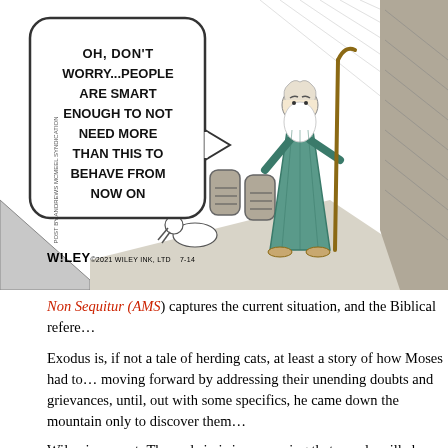[Figure (illustration): Non Sequitur comic strip by Wiley showing Moses figure in teal robe holding a staff standing on a mountain with stone tablets, with a speech bubble reading: OH, DON'T WORRY...PEOPLE ARE SMART ENOUGH TO NOT NEED MORE THAN THIS TO BEHAVE FROM NOW ON. Caption reads WILEY ©2021 WILEY INK, LTD  7-14]
Non Sequitur (AMS) captures the current situation, and the Biblical refere...
Exodus is, if not a tale of herding cats, at least a story of how Moses had to... moving forward by addressing their unending doubts and grievances, until, out with some specifics, he came down the mountain only to discover them...
Wiley is correct: The real sin is in presuming that people will choose to do t...
Maybe Jesus took a lesson from Moses. When, in the book of Matthew, he... to have his divine nature revealed, he brought along three of his apostles.
Moses might have held a stronger hand if he'd taken a couple of witnesses... his conversation with the Almighty.
Or maybe not, given that his own brother, Aaron, who had seen and even p... miraculous events, was the one down there collecting jewelry and making a...